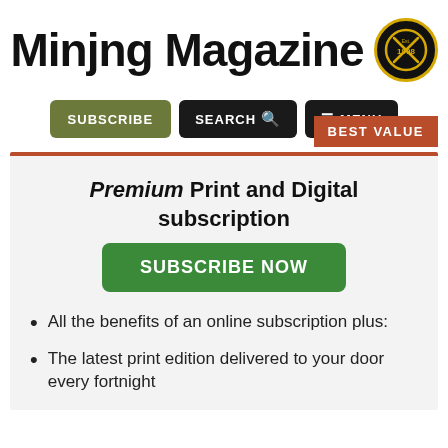Mining Magazine (logo with Established 1908 badge)
SUBSCRIBE  SEARCH  MENU
BEST VALUE
Premium Print and Digital subscription
SUBSCRIBE NOW
All the benefits of an online subscription plus:
The latest print edition delivered to your door every fortnight